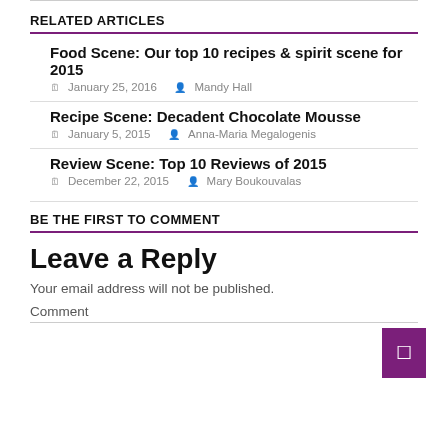RELATED ARTICLES
Food Scene: Our top 10 recipes & spirit scene for 2015
🗓 January 25, 2016   👤 Mandy Hall
Recipe Scene: Decadent Chocolate Mousse
🗓 January 5, 2015   👤 Anna-Maria Megalogenis
Review Scene: Top 10 Reviews of 2015
🗓 December 22, 2015   👤 Mary Boukouvalas
BE THE FIRST TO COMMENT
Leave a Reply
Your email address will not be published.
Comment